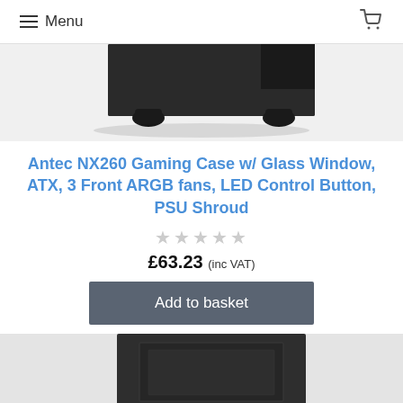Menu
[Figure (photo): Top portion of a black PC gaming case (Antec NX260) showing the bottom and feet of the case against a white background]
Antec NX260 Gaming Case w/ Glass Window, ATX, 3 Front ARGB fans, LED Control Button, PSU Shroud
★★★★★ (empty stars rating)
£63.23 (inc VAT)
Add to basket
[Figure (photo): Top portion of another black PC case product shown at the bottom of the page]